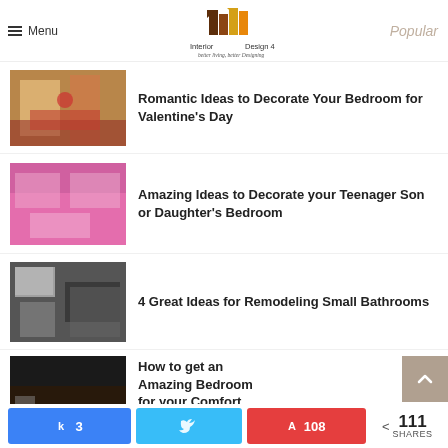Menu | Interior Design 4 — better living, better Designing | Popular
Romantic Ideas to Decorate Your Bedroom for Valentine's Day
Amazing Ideas to Decorate your Teenager Son or Daughter's Bedroom
4 Great Ideas for Remodeling Small Bathrooms
How to get an Amazing Bedroom for your Comfort and Relaxation?
Share: k 3 | Tweet | A Pin 108 | < 111 SHARES